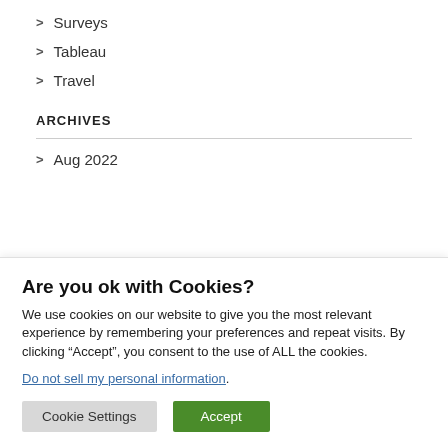> Surveys
> Tableau
> Travel
ARCHIVES
> Aug 2022
Are you ok with Cookies?
We use cookies on our website to give you the most relevant experience by remembering your preferences and repeat visits. By clicking “Accept”, you consent to the use of ALL the cookies.
Do not sell my personal information.
Cookie Settings   Accept